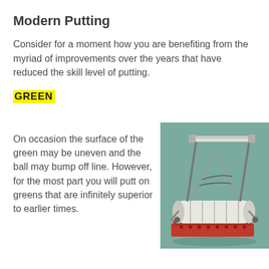Modern Putting
Consider for a moment how you are benefiting from the myriad of improvements over the years that have reduced the skill level of putting.
GREEN
On occasion the surface of the green may be uneven and the ball may bump off line. However, for the most part you will putt on greens that are infinitely superior to earlier times.
[Figure (photo): A vintage push lawn mower on a green background, showing cylindrical roller and red base with metal frame and handles.]